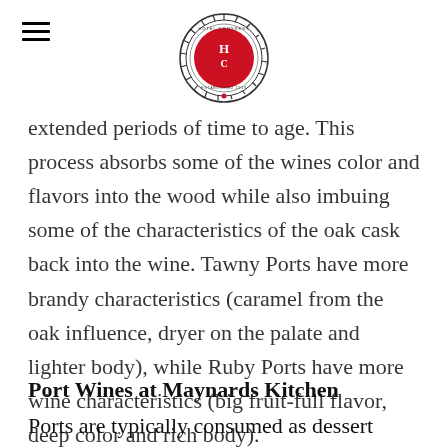Hotel Congress logo header
Tawny Ports are put into oak casks for extended periods of time to age. This process absorbs some of the wines color and flavors into the wood while also imbuing some of the characteristics of the oak cask back into the wine. Tawny Ports have more brandy characteristics (caramel from the oak influence, dryer on the palate and lighter body), while Ruby Ports have more wine characteristics (big fruit-full flavor, deep color and rich body).
Port Wines at Maynards Kitchen
Ports are typically consumed as dessert wines because of their sweetness. If you've